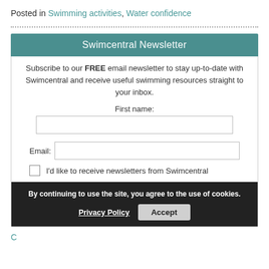Posted in Swimming activities, Water confidence
Swimcentral Newsletter
Subscribe to our FREE email newsletter to stay up-to-date with Swimcentral and receive useful swimming resources straight to your inbox.
First name:
Email:
I'd like to receive newsletters from Swimcentral
By continuing to use the site, you agree to the use of cookies.
Privacy Policy   Accept